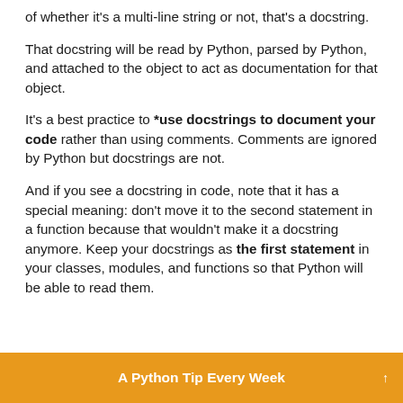of whether it's a multi-line string or not, that's a docstring.
That docstring will be read by Python, parsed by Python, and attached to the object to act as documentation for that object.
It's a best practice to *use docstrings to document your code rather than using comments. Comments are ignored by Python but docstrings are not.
And if you see a docstring in code, note that it has a special meaning: don't move it to the second statement in a function because that wouldn't make it a docstring anymore. Keep your docstrings as the first statement in your classes, modules, and functions so that Python will be able to read them.
A Python Tip Every Week